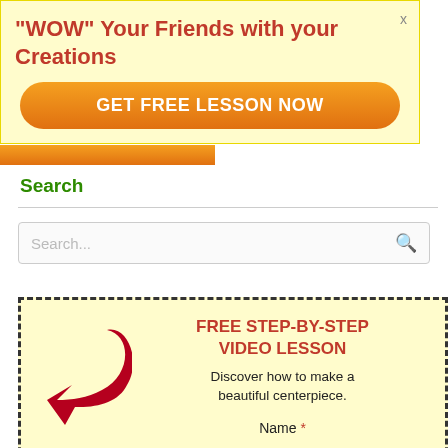"WOW" Your Friends with your Creations
[Figure (other): Orange rounded button labeled GET FREE LESSON NOW]
Search
[Figure (other): Search input box with placeholder text 'Search...' and magnifying glass icon]
[Figure (infographic): Yellow dashed-border promo box with red arrow icon, heading 'FREE STEP-BY-STEP VIDEO LESSON', subtext 'Discover how to make a beautiful centerpiece.', and Name field label]
Name *